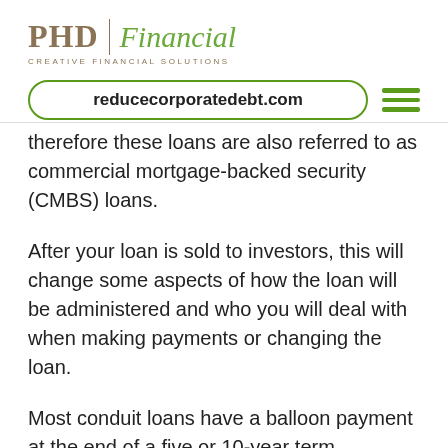PHD Financial | CREATIVE FINANCIAL SOLUTIONS
reducecorporatedebt.com
therefore these loans are also referred to as commercial mortgage-backed security (CMBS) loans.
After your loan is sold to investors, this will change some aspects of how the loan will be administered and who you will deal with when making payments or changing the loan.
Most conduit loans have a balloon payment at the end of a five or 10-year term, however, the monthly payments follow a 20 or 30-year